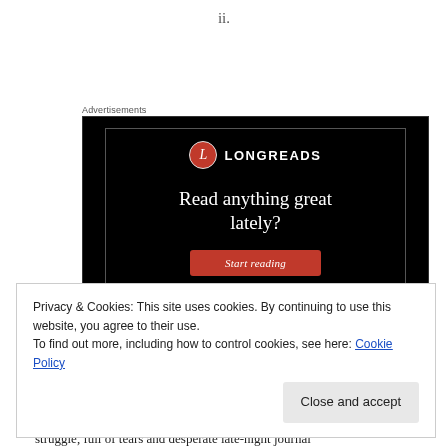ii.
Advertisements
[Figure (other): Longreads advertisement banner with dark background, Longreads logo (red circle with L), headline 'Read anything great lately?', and a red 'Start reading' button.]
Privacy & Cookies: This site uses cookies. By continuing to use this website, you agree to their use.
To find out more, including how to control cookies, see here: Cookie Policy
Close and accept
struggle, full of tears and desperate late-night journal